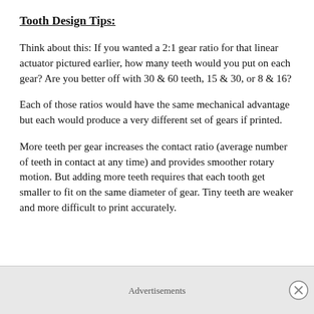Tooth Design Tips:
Think about this: If you wanted a 2:1 gear ratio for that linear actuator pictured earlier, how many teeth would you put on each gear? Are you better off with 30 & 60 teeth, 15 & 30, or 8 & 16?
Each of those ratios would have the same mechanical advantage but each would produce a very different set of gears if printed.
More teeth per gear increases the contact ratio (average number of teeth in contact at any time) and provides smoother rotary motion. But adding more teeth requires that each tooth get smaller to fit on the same diameter of gear. Tiny teeth are weaker and more difficult to print accurately.
Advertisements